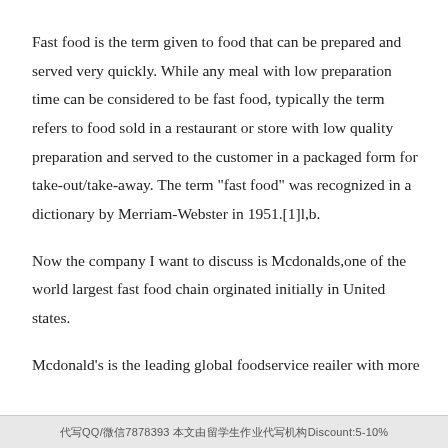Fast food is the term given to food that can be prepared and served very quickly. While any meal with low preparation time can be considered to be fast food, typically the term refers to food sold in a restaurant or store with low quality preparation and served to the customer in a packaged form for take-out/take-away. The term "fast food" was recognized in a dictionary by Merriam-Webster in 1951.[1]l,b.
Now the company I want to discuss is Mcdonalds,one of the world largest fast food chain orginated initially in United states.
Mcdonald's is the leading global foodservice reailer with more
代写QQ/微信7878393 本文由留学生作业代写机构Discount:5-10%